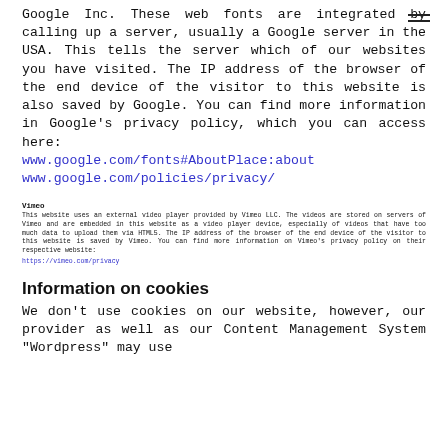Google Inc. These web fonts are integrated by calling up a server, usually a Google server in the USA. This tells the server which of our websites you have visited. The IP address of the browser of the end device of the visitor to this website is also saved by Google. You can find more information in Google's privacy policy, which you can access here:
www.google.com/fonts#AboutPlace:about
www.google.com/policies/privacy/
Vimeo
This website uses an external video player provided by Vimeo LLC. The videos are stored on servers of Vimeo and are embedded in this website as a video player device, especially of videos that have too much data to upload them via HTML5. The IP address of the browser of the end device of the visitor to this website is saved by Vimeo. You can find more information on Vimeo's privacy policy on their respective website:
https://vimeo.com/privacy
Information on cookies
We don't use cookies on our website, however, our provider as well as our Content Management System "Wordpress" may use